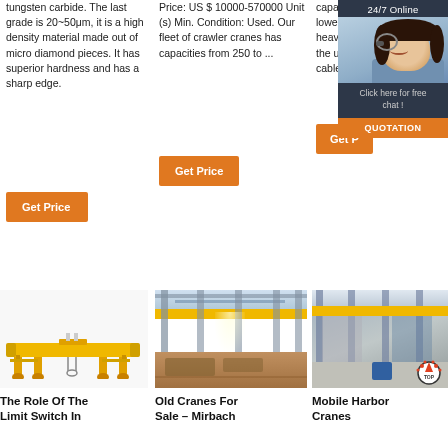tungsten carbide. The last grade is 20~50μm, it is a high density material made out of micro diamond pieces. It has superior hardness and has a sharp edge.
Price: US $ 10000-570000 Unit (s) Min. Condition: Used. Our fleet of crawler cranes has capacities from 250 to ...
capable of lifting, lowering and moving of heavy materials with the use of pulleys and cables.
[Figure (screenshot): Chat widget overlay with 24/7 Online label, photo of customer service representative, 'Click here for free chat!' text, and QUOTATION button]
[Figure (photo): Yellow overhead crane in industrial warehouse]
[Figure (photo): Interior of industrial factory/warehouse with overhead crane beams]
[Figure (photo): Interior of warehouse with yellow overhead crane and watermark logo]
The Role Of The Limit Switch In
Old Cranes For Sale – Mirbach
Mobile Harbor Cranes